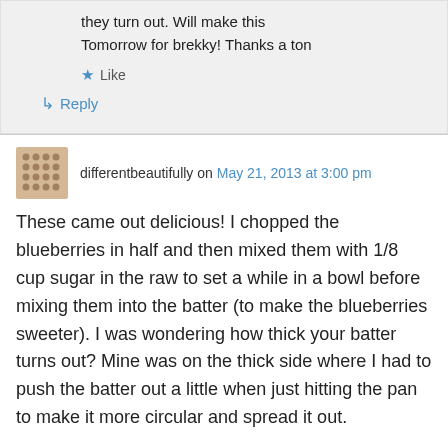they turn out. Will make this Tomorrow for brekky! Thanks a ton
★ Like
↳ Reply
differentbeautifully on May 21, 2013 at 3:00 pm
These came out delicious! I chopped the blueberries in half and then mixed them with 1/8 cup sugar in the raw to set a while in a bowl before mixing them into the batter (to make the blueberries sweeter). I was wondering how thick your batter turns out? Mine was on the thick side where I had to push the batter out a little when just hitting the pan to make it more circular and spread it out.